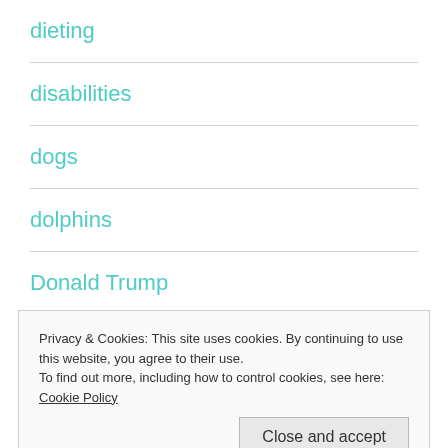dieting
disabilities
dogs
dolphins
Donald Trump
drones
Privacy & Cookies: This site uses cookies. By continuing to use this website, you agree to their use.
To find out more, including how to control cookies, see here: Cookie Policy
Close and accept